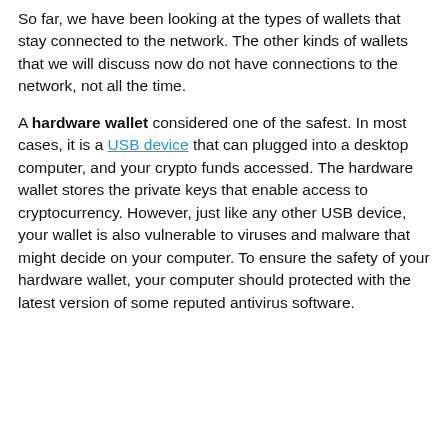So far, we have been looking at the types of wallets that stay connected to the network. The other kinds of wallets that we will discuss now do not have connections to the network, not all the time.
A hardware wallet considered one of the safest. In most cases, it is a USB device that can plugged into a desktop computer, and your crypto funds accessed. The hardware wallet stores the private keys that enable access to cryptocurrency. However, just like any other USB device, your wallet is also vulnerable to viruses and malware that might decide on your computer. To ensure the safety of your hardware wallet, your computer should protected with the latest version of some reputed antivirus software.